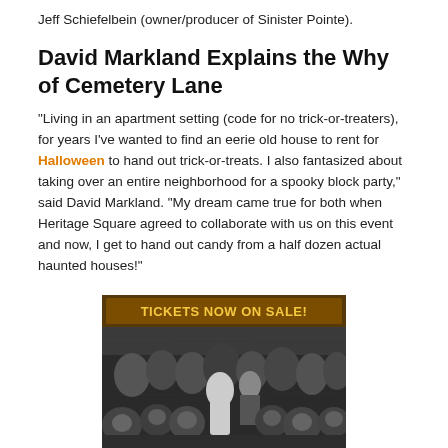Jeff Schiefelbein (owner/producer of Sinister Pointe).
David Markland Explains the Why of Cemetery Lane
“Living in an apartment setting (code for no trick-or-treaters), for years I’ve wanted to find an eerie old house to rent for Halloween to hand out trick-or-treats. I also fantasized about taking over an entire neighborhood for a spooky block party,” said David Markland. “My dream came true for both when Heritage Square agreed to collaborate with us on this event and now, I get to hand out candy from a half dozen actual haunted houses!”
[Figure (photo): Black and white photo of a large group of people in Halloween costumes (children and adults). A banner at the top reads 'TICKETS NOW ON SALE!' in orange/brown text. At the bottom of the image is a Cemetery Lane logo with a skull graphic.]